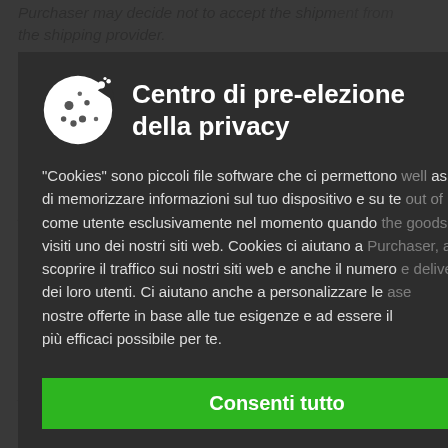Purchaser may decide not to accept the shipment from the shipping provider.
orders are made after being ordered by the Purchaser. The delivery time is displayed on the product card and is indicative. The delivery time can as in case out of the goods, of Purchaser, and if the delivery of ase
[Figure (screenshot): Cookie consent modal overlay with dark background. Contains a cookie icon, title 'Centro di pre-elezione della privacy', description text about cookies in Italian, and a green 'Consenti tutto' button.]
decide to divide the Order and as individual products. In the Seller undertakes to bear the costs otherwise for those goods.